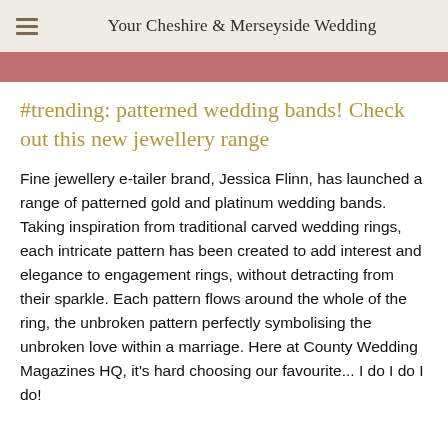Your Cheshire & Merseyside Wedding
[Figure (photo): Partial photo of a wedding ring or jewellery item with pinkish-rose background, cropped at top]
#trending: patterned wedding bands! Check out this new jewellery range
Fine jewellery e-tailer brand, Jessica Flinn, has launched a range of patterned gold and platinum wedding bands. Taking inspiration from traditional carved wedding rings, each intricate pattern has been created to add interest and elegance to engagement rings, without detracting from their sparkle. Each pattern flows around the whole of the ring, the unbroken pattern perfectly symbolising the unbroken love within a marriage. Here at County Wedding Magazines HQ, it's hard choosing our favourite... I do I do I do!